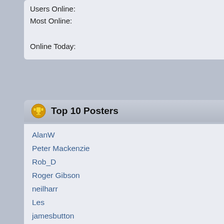| Stat | Value |
| --- | --- |
| Users Online: | 2 |
| Most Online: | 95 - December 26, 2019, 01:42:08 PM |
| Online Today: | 3 |
Top 10 Posters
| User | Posts |
| --- | --- |
| AlanW | 1375 |
| Peter Mackenzie | 997 |
| Rob_D | 693 |
| Roger Gibson | 687 |
| neilharr | 621 |
| Les | 619 |
| jamesbutton | 527 |
| PHowardUK | 481 |
| David Ince | 446 |
| Cris | 421 |
Top 10 Topics (by Replies)
| Topic | Replies |
| --- | --- |
| Where do we throw our money now? | 4 |
Top
Total Bo...
Latest M...
Average...
Male to F...
Getting S...
Objective...
Disclaim...
Top